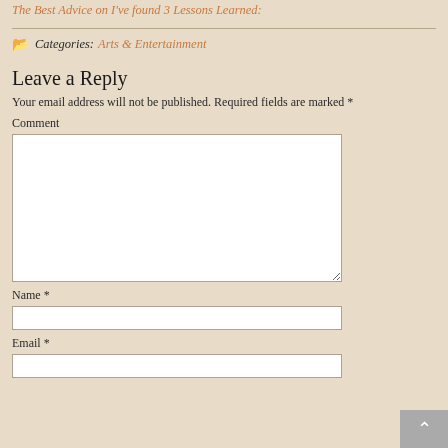The Best Advice on I've found
3 Lessons Learned:
Categories: Arts & Entertainment
Leave a Reply
Your email address will not be published. Required fields are marked *
Comment
Name *
Email *